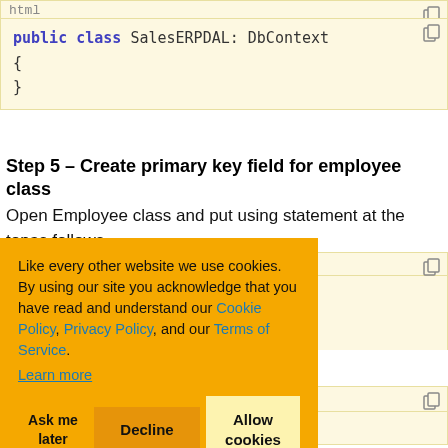[Figure (screenshot): Code block showing partial text 'html' at top with a copy icon]
[Figure (screenshot): Code block: public class SalesERPDAL: DbContext { }]
Step 5 – Create primary key field for employee class
Open Employee class and put using statement at the topas follows.
[Figure (screenshot): Code block partially visible with 'ations;' and 'lass and mark it' text, and another code block starting with '{']
[Figure (screenshot): Cookie consent overlay: Like every other website we use cookies. By using our site you acknowledge that you have read and understand our Cookie Policy, Privacy Policy, and our Terms of Service. Learn more. Buttons: Ask me later, Decline, Allow cookies]